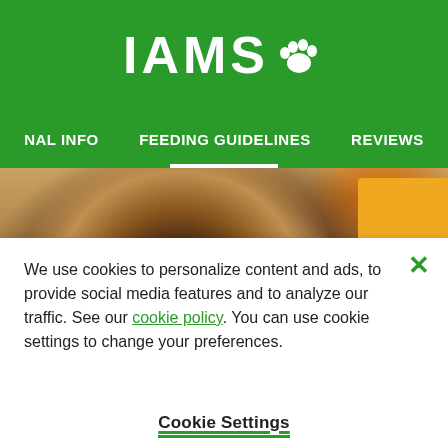IAMS
NAL INFO   FEEDING GUIDELINES   REVIEWS
[Figure (photo): Close-up photo of a dog sniffing or eating from a bowl, with IAMS product packaging visible on the right side (orange and purple/magenta boxes).]
We use cookies to personalize content and ads, to provide social media features and to analyze our traffic. See our cookie policy. You can use cookie settings to change your preferences.
Cookie Settings